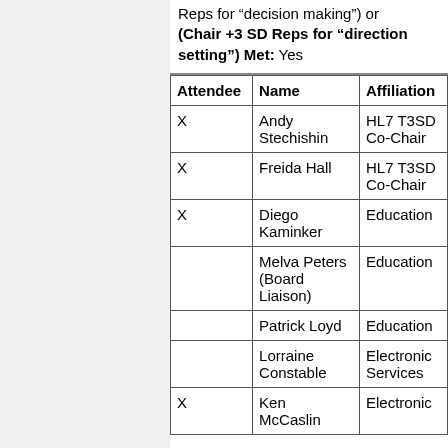Reps for "decision making") or (Chair +3 SD Reps for "direction setting") Met: Yes
| Attendee | Name | Affiliation |
| --- | --- | --- |
| X | Andy Stechishin | HL7 T3SD Co-Chair |
| X | Freida Hall | HL7 T3SD Co-Chair |
| X | Diego Kaminker | Education |
|  | Melva Peters (Board Liaison) | Education |
|  | Patrick Loyd | Education |
|  | Lorraine Constable | Electronic Services |
| X | Ken McCaslin | Electronic |